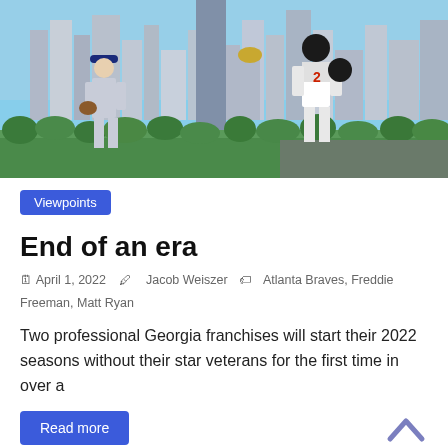[Figure (photo): Two athletes superimposed over the Atlanta city skyline. On the left, a baseball player in Atlanta Braves uniform holding a glove. On the right, a football player in Atlanta Falcons jersey number 2 (Matt Ryan) holding a football helmet. Background shows Atlanta skyscrapers under a blue sky.]
Viewpoints
End of an era
April 1, 2022   Jacob Weiszer   Atlanta Braves, Freddie Freeman, Matt Ryan
Two professional Georgia franchises will start their 2022 seasons without their star veterans for the first time in over a
Read more